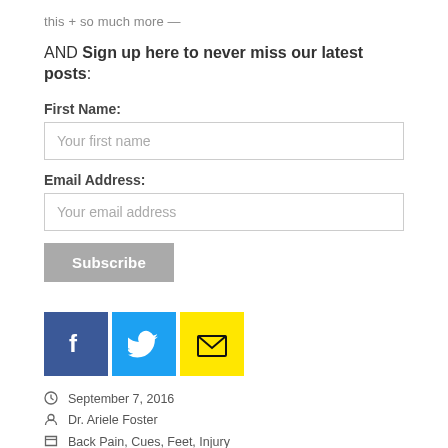this + so much more —
AND Sign up here to never miss our latest posts:
First Name:
Your first name
Email Address:
Your email address
Subscribe
[Figure (other): Row of three social sharing icons: Facebook (dark blue with f), Twitter (light blue with bird icon), Email (yellow with envelope icon)]
September 7, 2016
Dr. Ariele Foster
Back Pain, Cues, Feet, Injury
alignment based yoga, avoid injury through yoga, back pain from